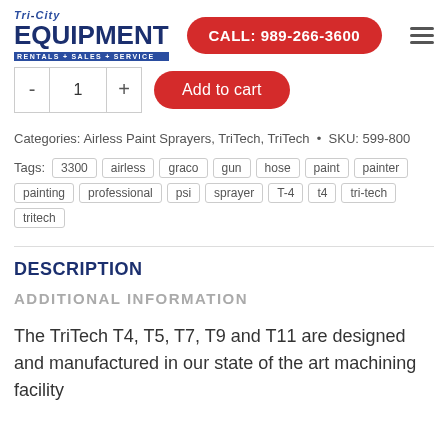TRI-CITY EQUIPMENT RENTALS+SALES+SERVICE | CALL: 989-266-3600
- 1 + Add to cart
Categories: Airless Paint Sprayers, TriTech, TriTech • SKU: 599-800
Tags: 3300 airless graco gun hose paint painter painting professional psi sprayer T-4 t4 tri-tech tritech
DESCRIPTION
ADDITIONAL INFORMATION
The TriTech T4, T5, T7, T9 and T11 are designed and manufactured in our state of the art machining facility